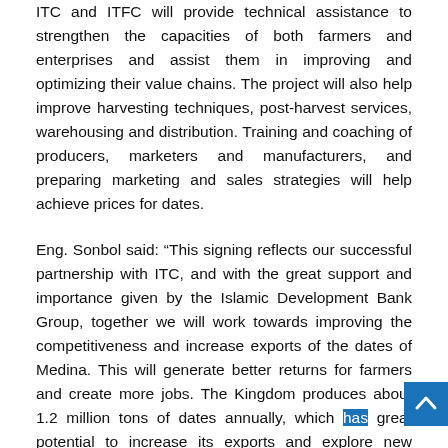ITC and ITFC will provide technical assistance to strengthen the capacities of both farmers and enterprises and assist them in improving and optimizing their value chains. The project will also help improve harvesting techniques, post-harvest services, warehousing and distribution. Training and coaching of producers, marketers and manufacturers, and preparing marketing and sales strategies will help achieve prices for dates.
Eng. Sonbol said: “This signing reflects our successful partnership with ITC, and with the great support and importance given by the Islamic Development Bank Group, together we will work towards improving the competitiveness and increase exports of the dates of Medina. This will generate better returns for farmers and create more jobs. The Kingdom produces about 1.2 million tons of dates annually, which has great potential to increase its exports and explore new export markets.”